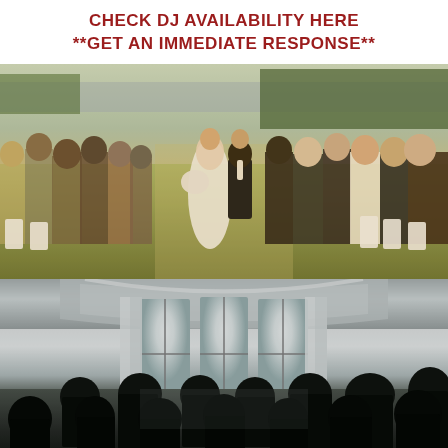CHECK DJ AVAILABILITY HERE
**GET AN IMMEDIATE RESPONSE**
[Figure (photo): Outdoor wedding ceremony recessional: bride in white gown holding bouquet and groom in black tuxedo walking up the aisle, guests on both sides applauding, green lawn and water/trees in background]
[Figure (photo): Indoor wedding venue interior: silhouettes of seated guests viewed from behind, bright windows with white curtains in a curved room, high ceiling with elegant architecture]